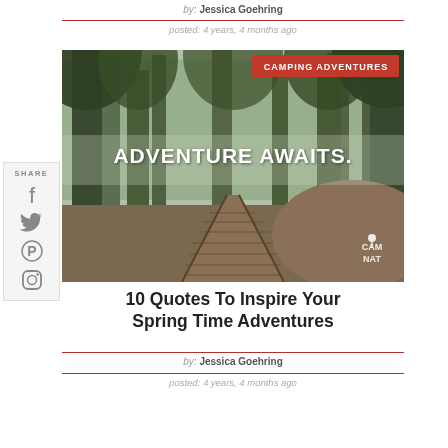by: Jessica Goehring
posted: 4 years, 4 months ago
[Figure (photo): Forest path with wooden boardwalk, tall pine trees, misty background. Text overlay 'ADVENTURE AWAITS.' in white bold letters. Red badge reading 'CAMPING ADVENTURES' in top right. Small watermark 'CAM NAT' bottom right.]
10 Quotes To Inspire Your Spring Time Adventures
by: Jessica Goehring
posted: 4 years, 4 months ago